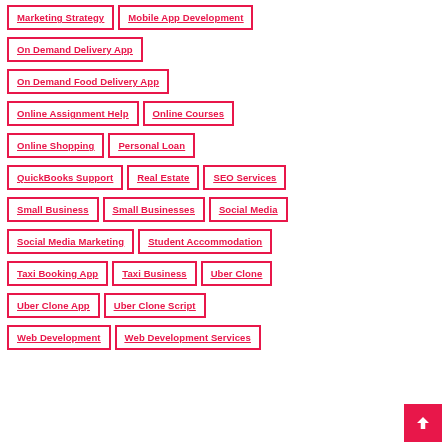Marketing Strategy
Mobile App Development
On Demand Delivery App
On Demand Food Delivery App
Online Assignment Help
Online Courses
Online Shopping
Personal Loan
QuickBooks Support
Real Estate
SEO Services
Small Business
Small Businesses
Social Media
Social Media Marketing
Student Accommodation
Taxi Booking App
Taxi Business
Uber Clone
Uber Clone App
Uber Clone Script
Web Development
Web Development Services